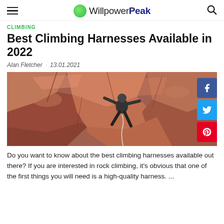WillpowerPeak
CLIMBING
Best Climbing Harnesses Available in 2022
Alan Fletcher · 13.01.2021
[Figure (photo): A rock climber scaling a red rocky cliff face, viewed from behind, wearing dark clothing and a harness with rope attached.]
Do you want to know about the best climbing harnesses available out there? If you are interested in rock climbing, it's obvious that one of the first things you will need is a high-quality harness. ...